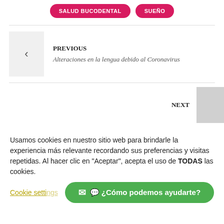[Figure (other): Two pink pill-shaped buttons: SALUD BUCODENTAL and SUEÑO]
PREVIOUS
Alteraciones en la lengua debido al Coronavirus
NEXT
Usamos cookies en nuestro sitio web para brindarle la experiencia más relevante recordando sus preferencias y visitas repetidas. Al hacer clic en "Aceptar", acepta el uso de TODAS las cookies.
Cookie settings
¿Cómo podemos ayudarte?